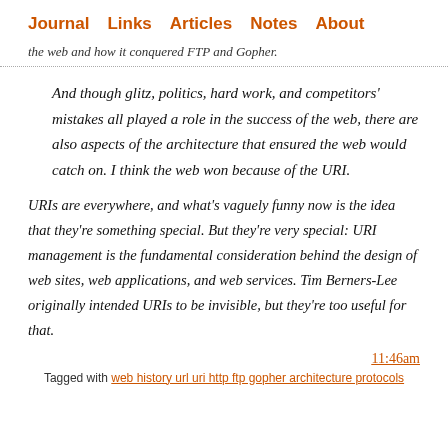Journal  Links  Articles  Notes  About
the web and how it conquered FTP and Gopher.
And though glitz, politics, hard work, and competitors' mistakes all played a role in the success of the web, there are also aspects of the architecture that ensured the web would catch on. I think the web won because of the URI.
URIs are everywhere, and what's vaguely funny now is the idea that they're something special. But they're very special: URI management is the fundamental consideration behind the design of web sites, web applications, and web services. Tim Berners-Lee originally intended URIs to be invisible, but they're too useful for that.
11:46am
Tagged with web history url uri http ftp gopher architecture protocols